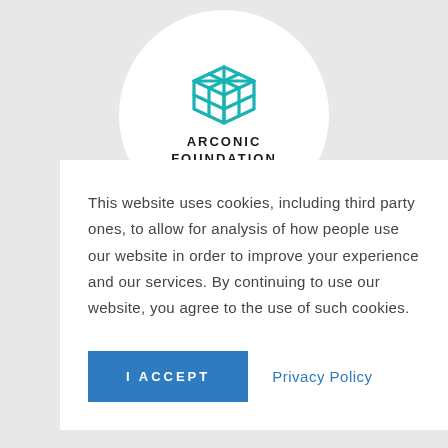[Figure (logo): Arconic Foundation logo: teal geometric cube/box icon above bold text reading ARCONIC FOUNDATION, centered inside a white circle on a light gray background]
This website uses cookies, including third party ones, to allow for analysis of how people use our website in order to improve your experience and our services. By continuing to use our website, you agree to the use of such cookies.
I ACCEPT
Privacy Policy